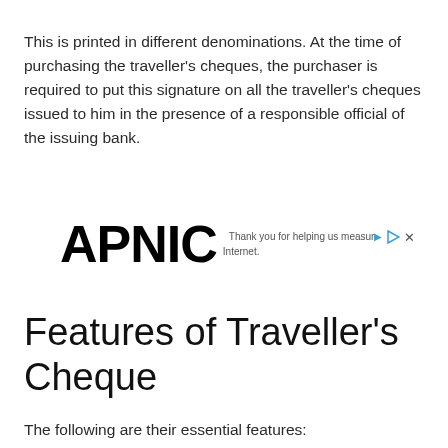This is printed in different denominations. At the time of purchasing the traveller's cheques, the purchaser is required to put this signature on all the traveller's cheques issued to him in the presence of a responsible official of the issuing bank.
[Figure (logo): APNIC logo in bold black text with an advertisement overlay: 'Thank you for helping us measure the Internet.' with play and close buttons]
Features of Traveller's Cheque
The following are their essential features: